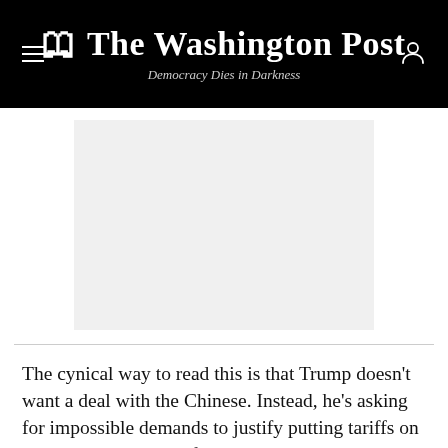The Washington Post
Democracy Dies in Darkness
[Figure (photo): A large light gray placeholder image area below the Washington Post header.]
The cynical way to read this is that Trump doesn't want a deal with the Chinese. Instead, he's asking for impossible demands to justify putting tariffs on China when the talks fall apart.